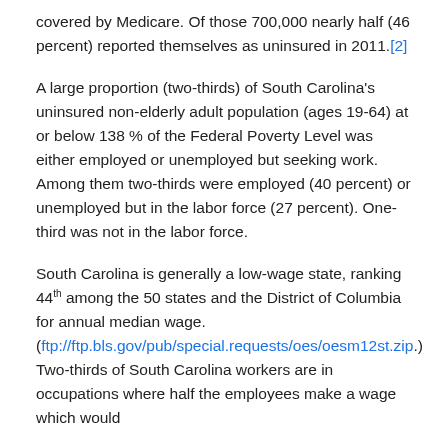covered by Medicare. Of those 700,000 nearly half (46 percent) reported themselves as uninsured in 2011.[2]
A large proportion (two-thirds) of South Carolina's uninsured non-elderly adult population (ages 19-64) at or below 138 % of the Federal Poverty Level was either employed or unemployed but seeking work. Among them two-thirds were employed (40 percent) or unemployed but in the labor force (27 percent). One-third was not in the labor force.
South Carolina is generally a low-wage state, ranking 44th among the 50 states and the District of Columbia for annual median wage. (ftp://ftp.bls.gov/pub/special.requests/oes/oesm12st.zip.) Two-thirds of South Carolina workers are in occupations where half the employees make a wage which would